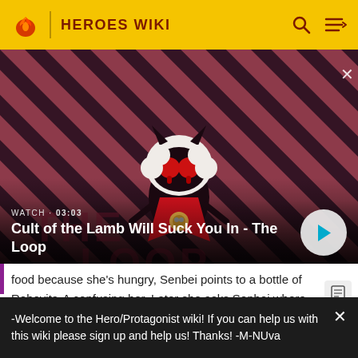HEROES WIKI
[Figure (screenshot): Video thumbnail showing Cult of the Lamb character on striped red/dark purple background. WATCH · 03:03 label shown. Title: Cult of the Lamb Will Suck You In - The Loop]
food because she's hungry, Senbei points to a bottle of Robovita-A confusing her. Later she asks Senbei where the bathroom is and doesn't get an answer because he
-Welcome to the Hero/Protagonist wiki! If you can help us with this wiki please sign up and help us! Thanks! -M-NUva